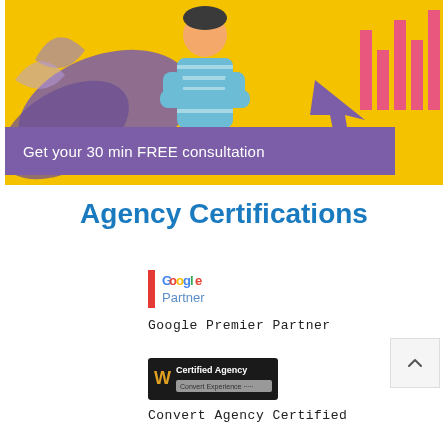[Figure (illustration): Marketing banner with yellow background, person in striped shirt, purple decorative elements, bar chart graphic, and upward arrow. Purple bar at bottom reads 'Get your 30 min FREE consultation']
Agency Certifications
[Figure (logo): Google Partner logo badge]
Google Premier Partner
[Figure (logo): Convert Certified Agency badge]
Convert Agency Certified